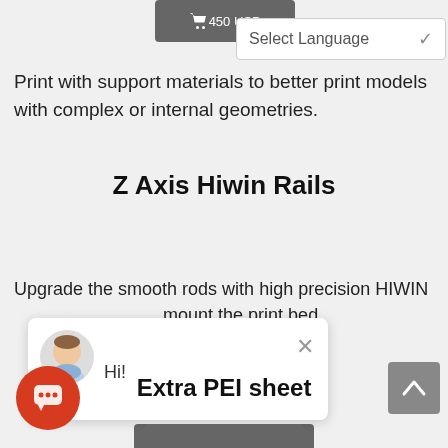[Figure (screenshot): Partially visible add-to-cart button with price '450 USD' and a 'Select Language' dropdown selector at the top of the page.]
Print with support materials to better print models with complex or internal geometries.
Z Axis Hiwin Rails
[Figure (screenshot): Add to cart button showing '800 USD' with shopping cart icon, dark gray background.]
Upgrade the smooth rods with high precision HIWIN ... mount the print bed ... is, resulting in higher ... a smoother prints.
[Figure (screenshot): Chat popup with avatar of a man in a blue shirt, close (X) button, and greeting text 'Hi!']
Extra PEI sheet
[Figure (screenshot): Scroll-to-top button (gray square with upward chevron) and red circular chat bubble button at bottom of page.]